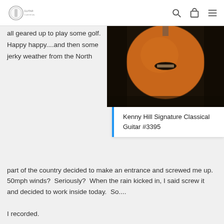[Logo] [Search] [Cart] [Menu]
all geared up to play some golf.  Happy happy....and then some jerky weather from the North
[Figure (photo): Close-up photo of an orange/cedar-top classical guitar showing the soundhole with a label inside, against a dark background.]
Kenny Hill Signature Classical Guitar #3395
part of the country decided to make an entrance and screwed me up.  50mph winds?  Seriously?  When the rain kicked in, I said screw it and decided to work inside today.  So....
I recorded.
Nice.  Got some serious work done.  Manuel Adalid Aniversario #61 and #62.... Kenny Hill